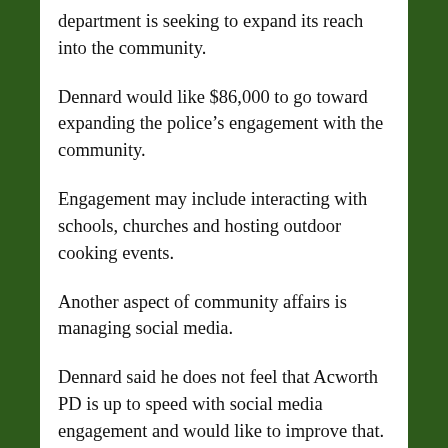department is seeking to expand its reach into the community.
Dennard would like $86,000 to go toward expanding the police’s engagement with the community.
Engagement may include interacting with schools, churches and hosting outdoor cooking events.
Another aspect of community affairs is managing social media.
Dennard said he does not feel that Acworth PD is up to speed with social media engagement and would like to improve that.
He said that Acworth PD is facing overall personnel shortages.